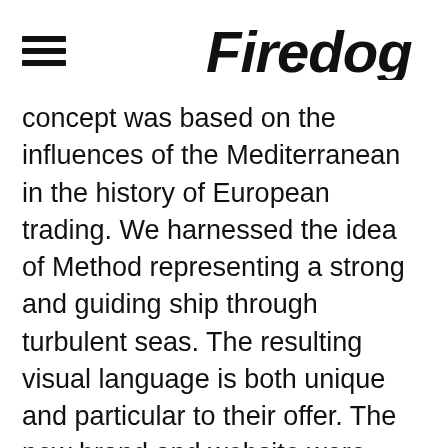[Figure (logo): Hamburger menu icon (three horizontal lines) on the left and Firedog logo text on the right]
concept was based on the influences of the Mediterranean in the history of European trading. We harnessed the idea of Method representing a strong and guiding ship through turbulent seas. The resulting visual language is both unique and particular to their offer. The new brand and website were launched in the UK in May this year and the initial response to this invigorating brand has been incredibly positive. We are now focusing on the Luxembourg and US